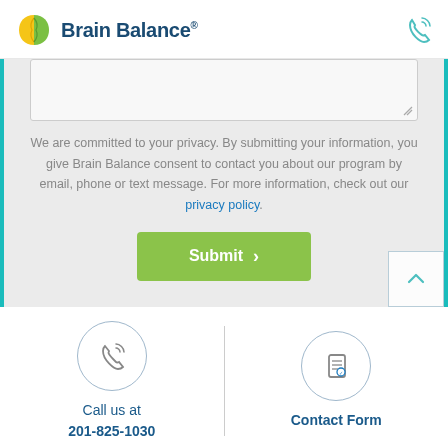[Figure (logo): Brain Balance logo with brain icon (yellow/green halves) and dark blue text 'Brain Balance' with registered trademark symbol, plus phone icon top right]
[Figure (screenshot): Partial text input area (textarea) with resize handle visible at bottom right, on a grey background with teal left and right borders]
We are committed to your privacy. By submitting your information, you give Brain Balance consent to contact you about our program by email, phone or text message. For more information, check out our privacy policy.
[Figure (other): Green Submit button with right chevron arrow]
[Figure (other): Phone icon in circle with 'Call us at 201-825-1030', and clipboard/form icon in circle with 'Contact Form', separated by a vertical line]
Call us at 201-825-1030
Contact Form